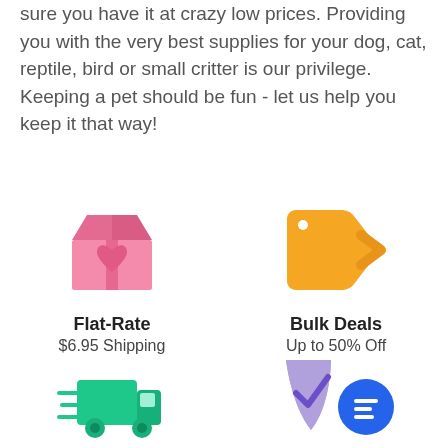sure you have it at crazy low prices. Providing you with the very best supplies for your dog, cat, reptile, bird or small critter is our privilege. Keeping a pet should be fun - let us help you keep it that way!
[Figure (illustration): Pink gift box with heart icon representing Flat-Rate shipping]
Flat-Rate
$6.95 Shipping
[Figure (illustration): Gold price tag icon representing Bulk Deals]
Bulk Deals
Up to 50% Off
[Figure (illustration): Green delivery truck icon with speed lines]
[Figure (illustration): Purple shield with checkmark and blue chat bubble icon]